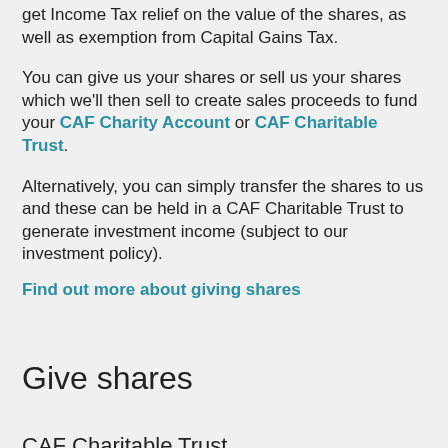get Income Tax relief on the value of the shares, as well as exemption from Capital Gains Tax.
You can give us your shares or sell us your shares which we'll then sell to create sales proceeds to fund your CAF Charity Account or CAF Charitable Trust.
Alternatively, you can simply transfer the shares to us and these can be held in a CAF Charitable Trust to generate investment income (subject to our investment policy).
Find out more about giving shares
Give shares
CAF Charitable Trust